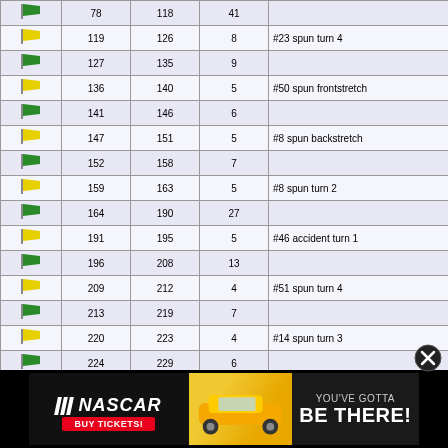| Flag | Start | End | Laps | Notes |  |
| --- | --- | --- | --- | --- | --- |
| green | 78 | 118 | 41 |  |  |
| yellow | 119 | 126 | 8 | #23 spun turn 4 |  |
| green | 127 | 135 | 9 |  |  |
| yellow | 136 | 140 | 5 | #50 spun frontstretch |  |
| green | 141 | 146 | 6 |  |  |
| yellow | 147 | 151 | 5 | #8 spun backstretch |  |
| green | 152 | 158 | 7 |  |  |
| yellow | 159 | 163 | 5 | #8 spun turn 2 |  |
| green | 164 | 190 | 27 |  |  |
| yellow | 191 | 195 | 5 | #46 accident turn 1 |  |
| green | 196 | 208 | 13 |  |  |
| yellow | 209 | 212 | 4 | #51 spun turn 4 |  |
| green | 213 | 219 | 7 |  |  |
| yellow | 220 | 223 | 4 | #14 spun turn 3 |  |
| green | 224 | 229 | 6 |  |  |
| yellow | 230 | 232 | 3 | #81 stalled turn 2 |  |
| green | 233 | 235 | 3 |  |  |
| yellow | 236 | 238 | 3 | #3,63,72 accident turn 4 |  |
| green | 239 | 243 | 5 |  |  |
[Figure (infographic): NASCAR advertisement banner: NASCAR logo with 'BUY TICKETS!' button, race car image, and text 'YOU'VE GOTTA BE THERE!']